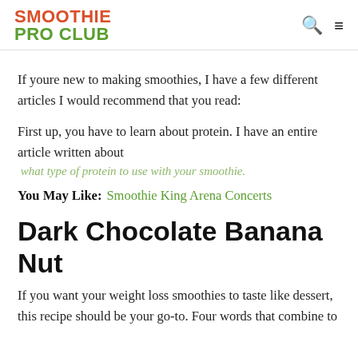SMOOTHIE PRO CLUB
If youre new to making smoothies, I have a few different articles I would recommend that you read:
First up, you have to learn about protein. I have an entire article written about what type of protein to use with your smoothie.
You May Like: Smoothie King Arena Concerts
Dark Chocolate Banana Nut
If you want your weight loss smoothies to taste like dessert, this recipe should be your go-to. Four words that combine to